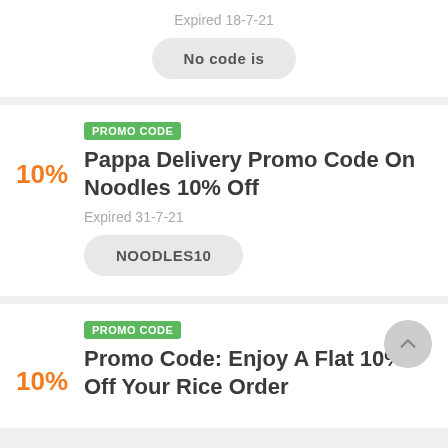Expired 18-7-21
No code is
PROMO CODE
Pappa Delivery Promo Code On Noodles 10% Off
Expired 31-7-21
NOODLES10
PROMO CODE
Promo Code: Enjoy A Flat 10% Off Your Rice Order